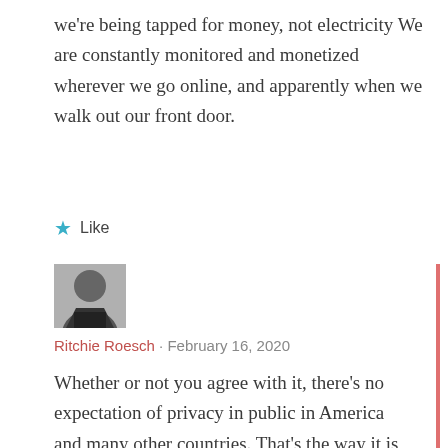we're being tapped for money, not electricity We are constantly monitored and monetized wherever we go online, and apparently when we walk out our front door.
★ Like
[Figure (photo): User avatar image — grayscale photo of a person]
Ritchie Roesch · February 16, 2020
Whether or not you agree with it, there's no expectation of privacy in public in America and many other countries. That's the way it is, for better or worse (probably worse). You point out some of the issues with it,